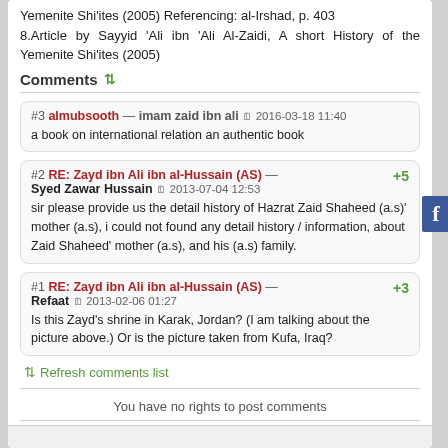Yemenite Shi'ites (2005) Referencing: al-Irshad, p. 403
8.Article by Sayyid 'Ali ibn 'Ali Al-Zaidi, A short History of the Yemenite Shi'ites (2005)
Comments
#3 almubsooth — imam zaid ibn ali 2016-03-18 11:40
a book on international relation an authentic book
#2 RE: Zayd ibn Ali ibn al-Hussain (AS) — Syed Zawar Hussain 2013-07-04 12:53 +5
sir please provide us the detail history of Hazrat Zaid Shaheed (a.s)' mother (a.s), i could not found any detail history / information, about Zaid Shaheed' mother (a.s), and his (a.s) family.
#1 RE: Zayd ibn Ali ibn al-Hussain (AS) — Refaat 2013-02-06 01:27 +3
Is this Zayd's shrine in Karak, Jordan? (I am talking about the picture above.) Or is the picture taken from Kufa, Iraq?
Refresh comments list
You have no rights to post comments
JComments